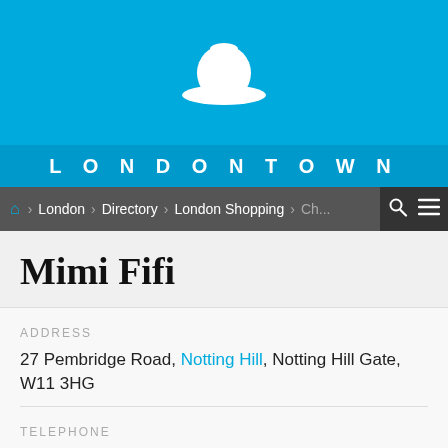[Figure (logo): Londontown white bowler hat logo on sky blue background]
LONDONTOWN
London > Directory > London Shopping > Ch...
Mimi Fifi
ADDRESS
27 Pembridge Road, Notting Hill, Notting Hill Gate, W11 3HG
TELEPHONE
020 7243 3154
OPENING TIMES